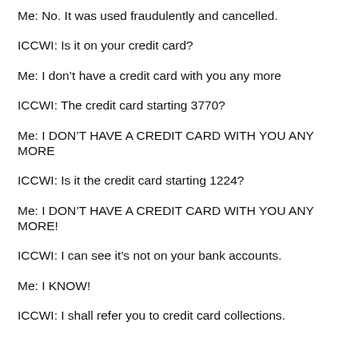Me: No. It was used fraudulently and cancelled.
ICCWI: Is it on your credit card?
Me: I don't have a credit card with you any more
ICCWI: The credit card starting 3770?
Me: I DON'T HAVE A CREDIT CARD WITH YOU ANY MORE
ICCWI: Is it the credit card starting 1224?
Me: I DON'T HAVE A CREDIT CARD WITH YOU ANY MORE!
ICCWI: I can see it's not on your bank accounts.
Me: I KNOW!
ICCWI: I shall refer you to credit card collections.